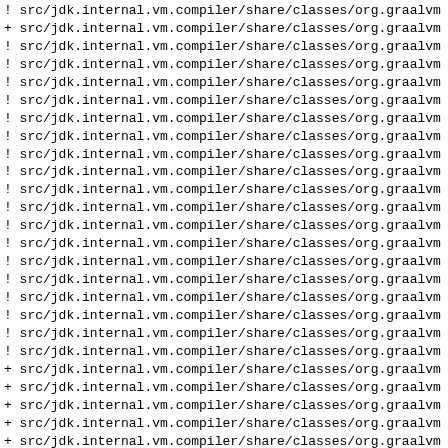! src/jdk.internal.vm.compiler/share/classes/org.graalvm
+ src/jdk.internal.vm.compiler/share/classes/org.graalvm
! src/jdk.internal.vm.compiler/share/classes/org.graalvm
! src/jdk.internal.vm.compiler/share/classes/org.graalvm
! src/jdk.internal.vm.compiler/share/classes/org.graalvm
! src/jdk.internal.vm.compiler/share/classes/org.graalvm
! src/jdk.internal.vm.compiler/share/classes/org.graalvm
! src/jdk.internal.vm.compiler/share/classes/org.graalvm
! src/jdk.internal.vm.compiler/share/classes/org.graalvm
! src/jdk.internal.vm.compiler/share/classes/org.graalvm
! src/jdk.internal.vm.compiler/share/classes/org.graalvm
! src/jdk.internal.vm.compiler/share/classes/org.graalvm
! src/jdk.internal.vm.compiler/share/classes/org.graalvm
! src/jdk.internal.vm.compiler/share/classes/org.graalvm
! src/jdk.internal.vm.compiler/share/classes/org.graalvm
! src/jdk.internal.vm.compiler/share/classes/org.graalvm
! src/jdk.internal.vm.compiler/share/classes/org.graalvm
! src/jdk.internal.vm.compiler/share/classes/org.graalvm
! src/jdk.internal.vm.compiler/share/classes/org.graalvm
! src/jdk.internal.vm.compiler/share/classes/org.graalvm
+ src/jdk.internal.vm.compiler/share/classes/org.graalvm
+ src/jdk.internal.vm.compiler/share/classes/org.graalvm
+ src/jdk.internal.vm.compiler/share/classes/org.graalvm
+ src/jdk.internal.vm.compiler/share/classes/org.graalvm
+ src/jdk.internal.vm.compiler/share/classes/org.graalvm
+ src/jdk.internal.vm.compiler/share/classes/org.graalvm
+ src/jdk.internal.vm.compiler/share/classes/org.graalvm
+ src/jdk.internal.vm.compiler/share/classes/org.graalvm
+ src/jdk.internal.vm.compiler/share/classes/org.graalvm
+ src/jdk.internal.vm.compiler/share/classes/org.graalvm
+ src/jdk.internal.vm.compiler/share/classes/org.graalvm